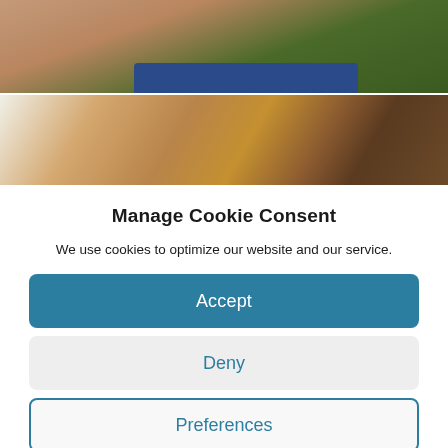[Figure (photo): Two stacked photos: top shows a close-up of skin/foot with dark strap against greenery background; bottom shows wooden furniture and a person with dark curly hair.]
Manage Cookie Consent
We use cookies to optimize our website and our service.
Accept
Deny
Preferences